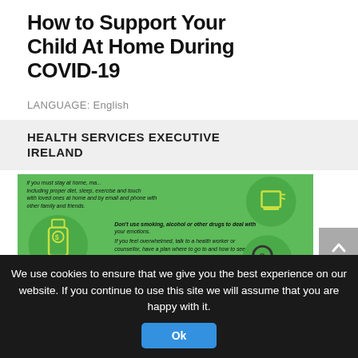How to Support Your Child At Home During COVID-19
LANGUAGE: English
HEALTH SERVICES EXECUTIVE IRELAND
[Figure (infographic): Green infographic with icons showing health advice during COVID-19: avoiding alcohol/smoking, gathering facts, consulting health workers. Shows bottle icon and magnifying glass icon with text tips.]
We use cookies to ensure that we give you the best experience on our website. If you continue to use this site we will assume that you are happy with it.